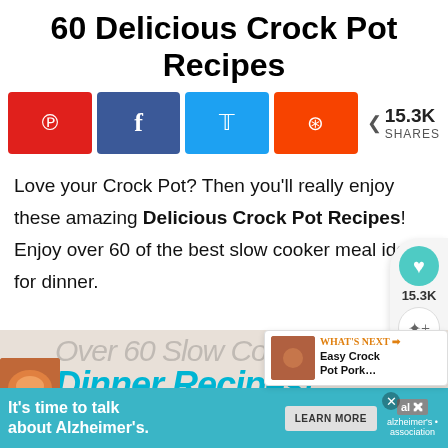60 Delicious Crock Pot Recipes
[Figure (infographic): Social sharing buttons: Pinterest (red), Facebook (dark blue), Twitter (light blue), Reddit (orange), with 15.3K SHARES count]
Love your Crock Pot? Then you'll really enjoy these amazing Delicious Crock Pot Recipes! Enjoy over 60 of the best slow cooker meal ideas for dinner.
[Figure (screenshot): Partial image of slow cooker dinner recipes with overlay text 'Over 60 Slow Cooker Dinner Recipes!' and an advertisement banner reading 'It's time to talk about Alzheimer's.' with LEARN MORE button and Alzheimer's association logo]